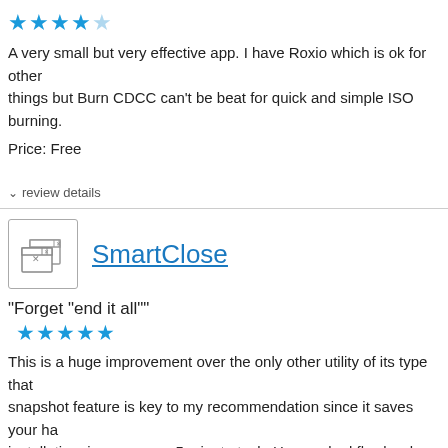[Figure (other): 4 out of 5 stars rating (4 filled, 1 half/empty)]
A very small but very effective app. I have Roxio which is ok for other things but Burn CDCC can't be beat for quick and simple ISO burning.
Price: Free
review details
[Figure (illustration): SmartClose app icon showing two overlapping windows with X buttons]
SmartClose
“Forget “end it all””
[Figure (other): 5 out of 5 stars rating]
This is a huge improvement over the only other utility of its type that I know of. The snapshot feature is key to my recommendation since it saves your hassle to re-do the installation, in my case a 5 minute task. Has worked flawlessly. Kudo...
Price: Free
review details